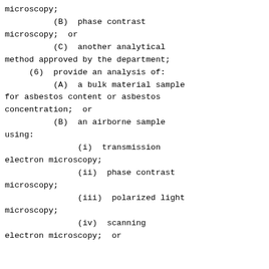microscopy;
(B)  phase contrast microscopy;  or
(C)  another analytical method approved by the department;
(6)  provide an analysis of:
(A)  a bulk material sample for asbestos content or asbestos concentration;  or
(B)  an airborne sample using:
(i)  transmission electron microscopy;
(ii)  phase contrast microscopy;
(iii)  polarized light microscopy;
(iv)  scanning electron microscopy;  or